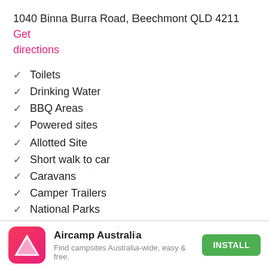1040 Binna Burra Road, Beechmont QLD 4211 Get directions
✓ Toilets
✓ Drinking Water
✓ BBQ Areas
✓ Powered sites
✓ Allotted Site
✓ Short walk to car
✓ Caravans
✓ Camper Trailers
✓ National Parks
✓ Independent
✓ Hike in
✓ Car
Aircamp Australia
Find campsites Australia-wide, easy & free.